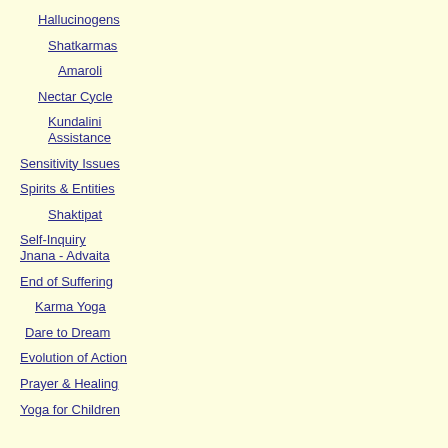Hallucinogens
Shatkarmas
Amaroli
Nectar Cycle
Kundalini Assistance
Sensitivity Issues
Spirits & Entities
Shaktipat
Self-Inquiry Jnana - Advaita
End of Suffering
Karma Yoga
Dare to Dream
Evolution of Action
Prayer & Healing
Yoga for Children